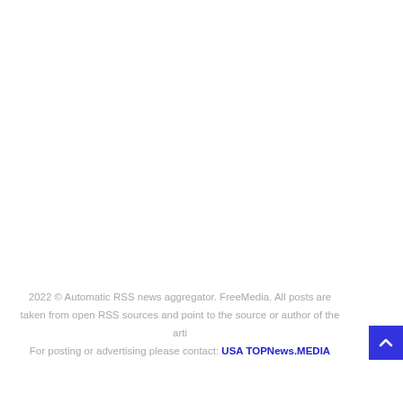2022 © Automatic RSS news aggregator. FreeMedia. All posts are taken from open RSS sources and point to the source or author of the arti… For posting or advertising please contact: USA TOPNews.MEDIA